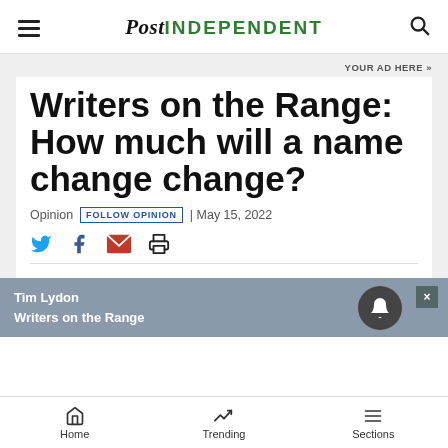POST INDEPENDENT
YOUR AD HERE »
Writers on the Range: How much will a name change change?
Opinion  FOLLOW OPINION  | May 15, 2022
Tim Lydon
Writers on the Range
Home  Trending  Sections